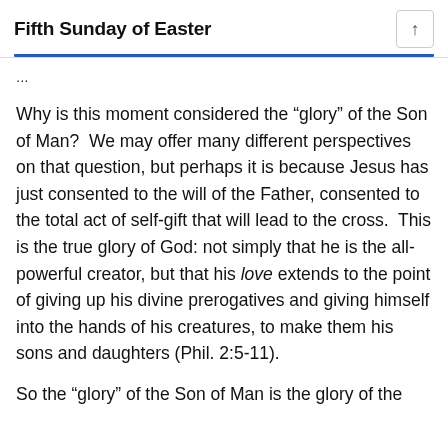Fifth Sunday of Easter
...
Why is this moment considered the “glory” of the Son of Man?  We may offer many different perspectives on that question, but perhaps it is because Jesus has just consented to the will of the Father, consented to the total act of self-gift that will lead to the cross.  This is the true glory of God: not simply that he is the all-powerful creator, but that his love extends to the point of giving up his divine prerogatives and giving himself into the hands of his creatures, to make them his sons and daughters (Phil. 2:5-11).
So the “glory” of the Son of Man is the glory of the